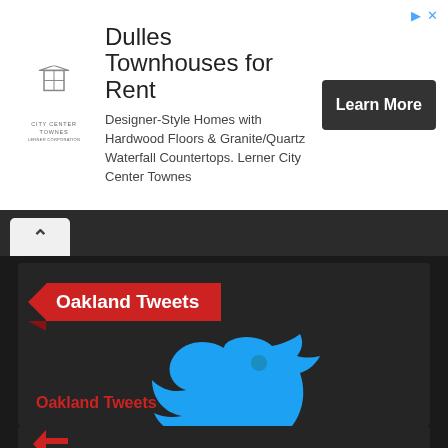[Figure (infographic): Advertisement banner for Dulles Townhouses for Rent by City Center Townes. Shows logo on left, ad text in center, and 'Learn More' button on right.]
Dulles Townhouses for Rent
Designer-Style Homes with Hardwood Floors & Granite/Quartz Waterfall Countertops. Lerner City Center Townes
[Figure (screenshot): Website section showing 'Oakland Tweets' heading with red ribbon banner and large Twitter bird logo on dark background, with 'Oakland Tweets' text link below.]
Oakland Tweets
Oakland Tweets